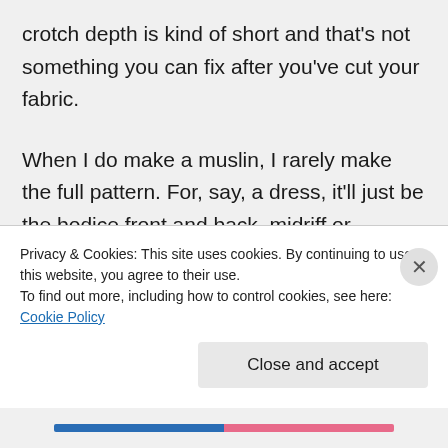crotch depth is kind of short and that's not something you can fix after you've cut your fabric.
When I do make a muslin, I rarely make the full pattern. For, say, a dress, it'll just be the bodice front and back, midriff or waistband (if there is one) and possibly one sleeve. I baste in a zipper to check the fit. I don't bother with skirts or any finishing details unless they are significant to the way the
Privacy & Cookies: This site uses cookies. By continuing to use this website, you agree to their use.
To find out more, including how to control cookies, see here: Cookie Policy
Close and accept